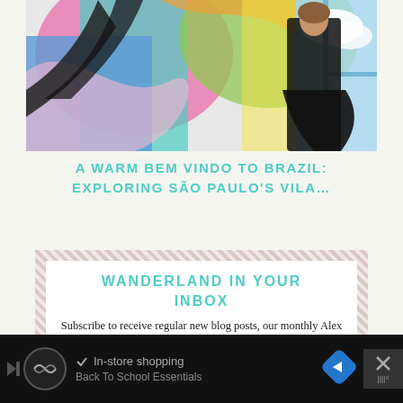[Figure (photo): Woman in black dress posing in front of colorful street mural art with pink, blue, green, and yellow shapes]
A WARM BEM VINDO TO BRAZIL: EXPLORING SÃO PAULO'S VILA…
WANDERLAND IN YOUR INBOX
Subscribe to receive regular new blog posts, our monthly Alex in Wanderland newsletter, or our Wander Women Retreats announcements — or all
[Figure (screenshot): Black ad banner at bottom: circular logo icon, checkmark with 'In-store shopping', 'Back To School Essentials' subtitle, blue diamond navigation icon, X close button, and a temperature/weather icon]